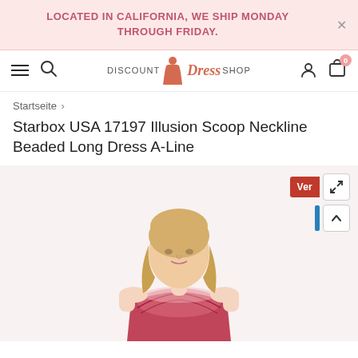LOCATED IN CALIFORNIA, WE SHIP MONDAY THROUGH FRIDAY.
[Figure (screenshot): Navigation bar with hamburger menu, search icon, Discount Dress Shop logo with dress icon, user account icon, and cart icon showing 0 items]
Startseite >
Starbox USA 17197 Illusion Scoop Neckline Beaded Long Dress A-Line
[Figure (photo): Blonde female model wearing a beaded burgundy/pink A-line long dress with illusion scoop neckline. The photo shows her from approximately the waist up. Overlay buttons on the right side include a red 'Ver' button and expand/scroll controls.]